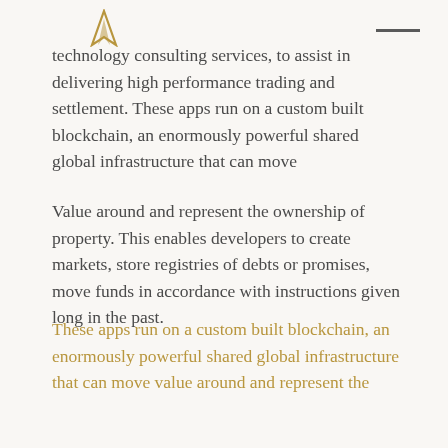technology consulting services, to assist in delivering high performance trading and settlement. These apps run on a custom built blockchain, an enormously powerful shared global infrastructure that can move
Value around and represent the ownership of property. This enables developers to create markets, store registries of debts or promises, move funds in accordance with instructions given long in the past.
These apps run on a custom built blockchain, an enormously powerful shared global infrastructure that can move value around and represent the